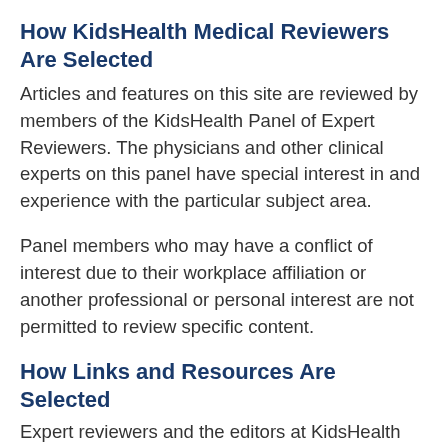How KidsHealth Medical Reviewers Are Selected
Articles and features on this site are reviewed by members of the KidsHealth Panel of Expert Reviewers. The physicians and other clinical experts on this panel have special interest in and experience with the particular subject area.
Panel members who may have a conflict of interest due to their workplace affiliation or another professional or personal interest are not permitted to review specific content.
How Links and Resources Are Selected
Expert reviewers and the editors at KidsHealth research the resources and links in each article to determine that they offer high-quality information that may be of interest to you. Although every effort is made...